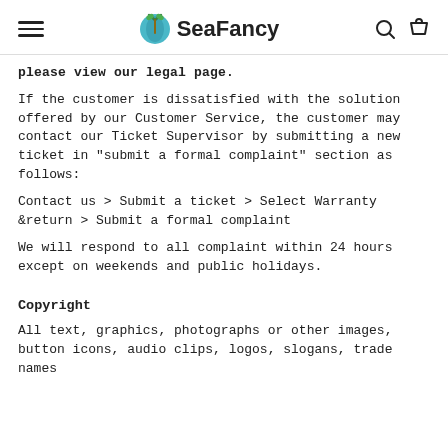SeaFancy
please view our legal page.
If the customer is dissatisfied with the solution offered by our Customer Service, the customer may contact our Ticket Supervisor by submitting a new ticket in "submit a formal complaint" section as follows:
Contact us > Submit a ticket > Select Warranty &return > Submit a formal complaint
We will respond to all complaint within 24 hours except on weekends and public holidays.
Copyright
All text, graphics, photographs or other images, button icons, audio clips, logos, slogans, trade names